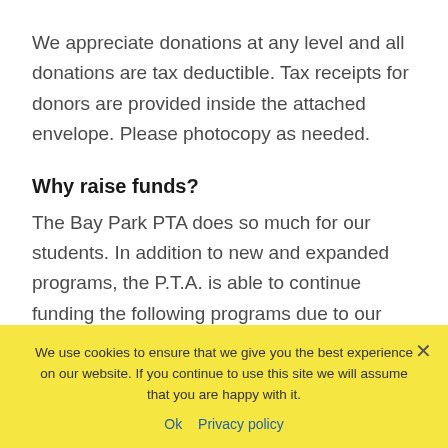We appreciate donations at any level and all donations are tax deductible. Tax receipts for donors are provided inside the attached envelope. Please photocopy as needed.
Why raise funds?
The Bay Park PTA does so much for our students. In addition to new and expanded programs, the P.T.A. is able to continue funding the following programs due to our school
We use cookies to ensure that we give you the best experience on our website. If you continue to use this site we will assume that you are happy with it.
Ok   Privacy policy